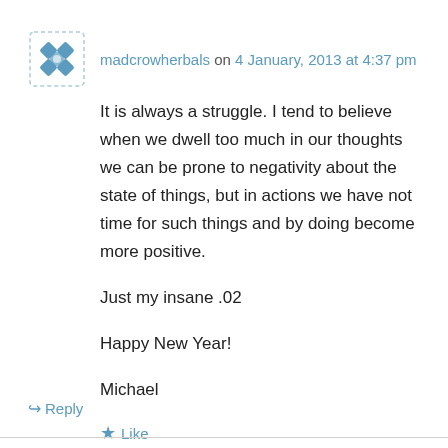madcrowherbals on 4 January, 2013 at 4:37 pm
It is always a struggle. I tend to believe when we dwell too much in our thoughts we can be prone to negativity about the state of things, but in actions we have not time for such things and by doing become more positive.

Just my insane .02

Happy New Year!

Michael
Like
Reply